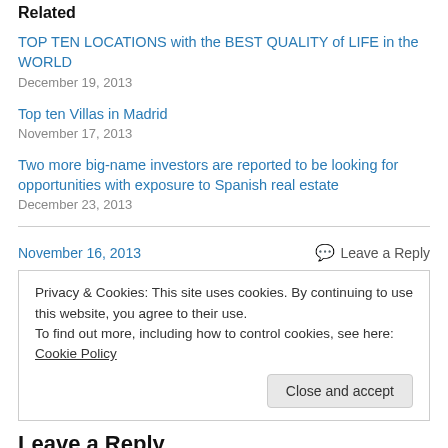Related
TOP TEN LOCATIONS with the BEST QUALITY of LIFE in the WORLD
December 19, 2013
Top ten Villas in Madrid
November 17, 2013
Two more big-name investors are reported to be looking for opportunities with exposure to Spanish real estate
December 23, 2013
November 16, 2013    Leave a Reply
Privacy & Cookies: This site uses cookies. By continuing to use this website, you agree to their use.
To find out more, including how to control cookies, see here: Cookie Policy
Close and accept
Leave a Reply